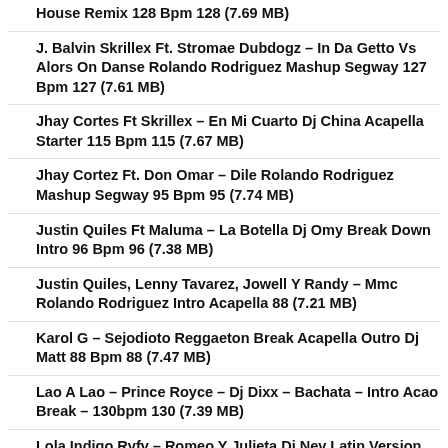House Remix 128 Bpm 128 (7.69 MB)
J. Balvin Skrillex Ft. Stromae Dubdogz – In Da Getto Vs Alors On Danse Rolando Rodriguez Mashup Segway 127 Bpm 127 (7.61 MB)
Jhay Cortes Ft Skrillex – En Mi Cuarto Dj China Acapella Starter 115 Bpm 115 (7.67 MB)
Jhay Cortez Ft. Don Omar – Dile Rolando Rodriguez Mashup Segway 95 Bpm 95 (7.74 MB)
Justin Quiles Ft Maluma – La Botella Dj Omy Break Down Intro 96 Bpm 96 (7.38 MB)
Justin Quiles, Lenny Tavarez, Jowell Y Randy – Mmc Rolando Rodriguez Intro Acapella 88 (7.21 MB)
Karol G – Sejodioto Reggaeton Break Acapella Outro Dj Matt 88 Bpm 88 (7.47 MB)
Lao A Lao – Prince Royce – Dj Dixx – Bachata – Intro Acao Break – 130bpm 130 (7.39 MB)
Lola Indigo Rvfv – Romeo Y Julieta Dj Nev Latin Version Remix 130 (7.24 MB)
Los Sabanales – Corraleros Y Cornetto – Dj Diego Alonso